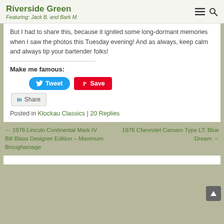Riverside Green
Featuring: Jack B. and Bark M.
But I had to share this, because it ignited some long-dormant memories when I saw the photos this Tuesday evening! And as always, keep calm and always tip your bartender folks!
Make me famous:
[Figure (screenshot): Social share buttons: Tweet (Twitter blue), Save (Pinterest red), Share (LinkedIn grey)]
Posted in Klockau Classics | 20 Replies
← 1976 Lincoln Continental Mark IV Bill Blass Designer Edition – Maximum Broughamage
1976 Chevrolet Camaro Type LT: Blue Dream →